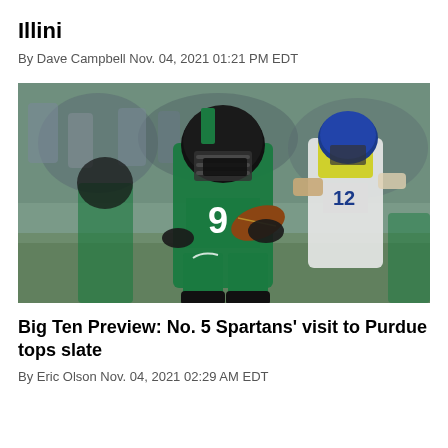Illini
By Dave Campbell Nov. 04, 2021 01:21 PM EDT
[Figure (photo): Michigan State football player number 9 in green uniform carrying the ball, with a Michigan player in white and blue uniform nearby, crowd in background]
Big Ten Preview: No. 5 Spartans' visit to Purdue tops slate
By Eric Olson Nov. 04, 2021 02:29 AM EDT